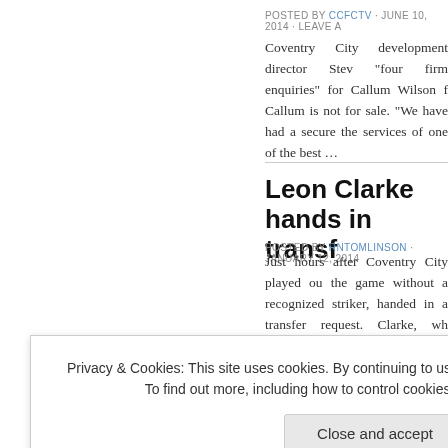POSTED BY CCFCTV · JUNE 10, 2014 · LEAVE A
Coventry City development director Stev... "four firm enquiries" for Callum Wilson f... Callum is not for sale. "We have had a secure the services of one of the best …
Leon Clarke hands in transf
POSTED BY RNTOMLINSON · JANUARY 12, 2014
Just hours after Coventry City played ou... the game without a recognized striker, handed in a transfer request. Clarke, wh... scored a total of 27 … Continue reading
Northampton Town Footbal... action withdrawal
Privacy & Cookies: This site uses cookies. By continuing to use this website, you agree to their use. To find out more, including how to control cookies, see here: Cookie Policy
Close and accept